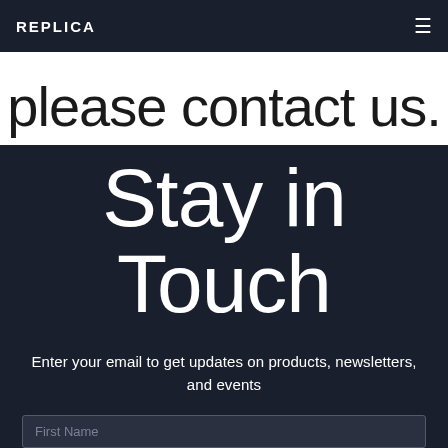REPLICA
please contact us.
Stay in Touch
Enter your email to get updates on products, newsletters, and events
First Name